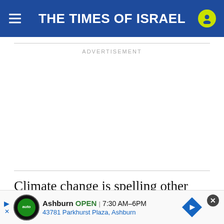THE TIMES OF ISRAEL
ADVERTISEMENT
Climate change is spelling other troubles, too, he warne...
[Figure (screenshot): Bottom advertisement banner for auto dealership: Ashburn OPEN 7:30AM-6PM, 43781 Parkhurst Plaza, Ashburn]